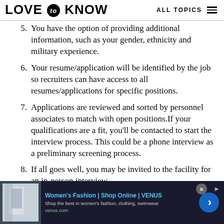LOVE to KNOW | ALL TOPICS
5. You have the option of providing additional information, such as your gender, ethnicity and military experience.
6. Your resume/application will be identified by the job so recruiters can have access to all resumes/applications for specific positions.
7. Applications are reviewed and sorted by personnel associates to match with open positions.If your qualifications are a fit, you'll be contacted to start the interview process. This could be a phone interview as a preliminary screening process.
8. If all goes well, you may be invited to the facility for an in-person interview.
[Figure (screenshot): Advertisement banner for Women's Fashion | Shop Online | VENUS. Shows a fashion image on the left, ad text in the middle, and a blue arrow button on the right. URL: venus.com]